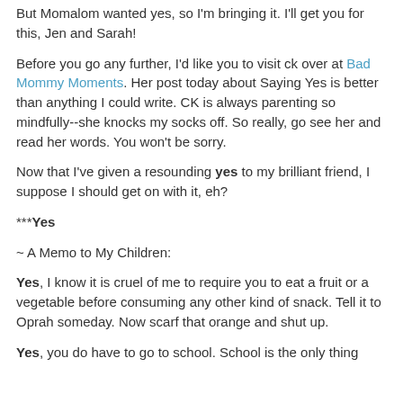But Momalom wanted yes, so I'm bringing it. I'll get you for this, Jen and Sarah!
Before you go any further, I'd like you to visit ck over at Bad Mommy Moments. Her post today about Saying Yes is better than anything I could write. CK is always parenting so mindfully--she knocks my socks off. So really, go see her and read her words. You won't be sorry.
Now that I've given a resounding yes to my brilliant friend, I suppose I should get on with it, eh?
***Yes
~ A Memo to My Children:
Yes, I know it is cruel of me to require you to eat a fruit or a vegetable before consuming any other kind of snack. Tell it to Oprah someday. Now scarf that orange and shut up.
Yes, you do have to go to school. School is the only thing